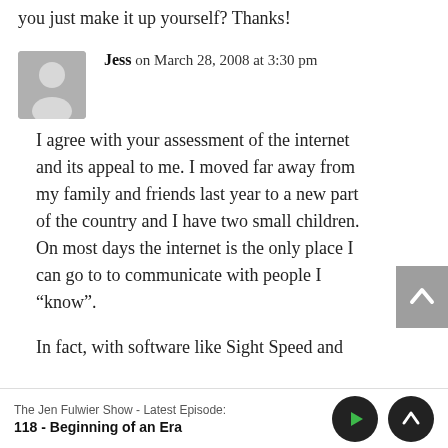you just make it up yourself? Thanks!
Jess on March 28, 2008 at 3:30 pm
I agree with your assessment of the internet and its appeal to me. I moved far away from my family and friends last year to a new part of the country and I have two small children. On most days the internet is the only place I can go to to communicate with people I “know”.
In fact, with software like Sight Speed and
The Jen Fulwier Show - Latest Episode:
118 - Beginning of an Era